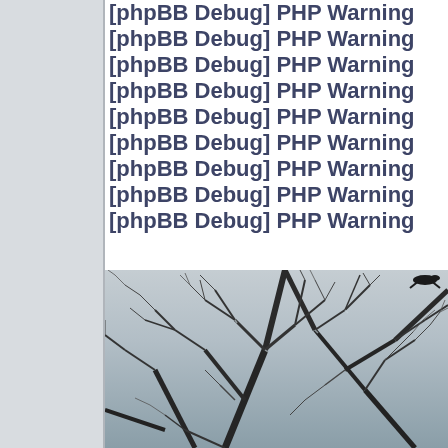[phpBB Debug] PHP Warning
[phpBB Debug] PHP Warning
[phpBB Debug] PHP Warning
[phpBB Debug] PHP Warning
[phpBB Debug] PHP Warning
[phpBB Debug] PHP Warning
[phpBB Debug] PHP Warning
[phpBB Debug] PHP Warning
[phpBB Debug] PHP Warning
[Figure (photo): Black and white photograph of bare winter tree branches against a light sky, showing complex intertwining branch patterns]